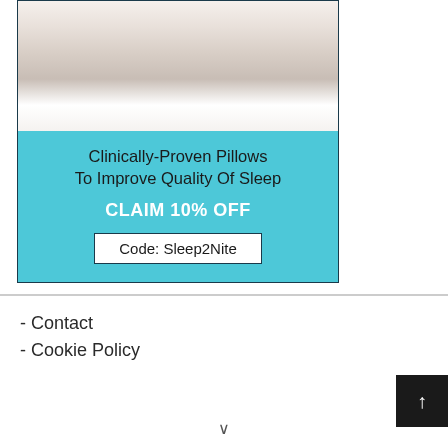[Figure (photo): Advertisement banner showing a person resting on a pillow in a teal and white design]
Clinically-Proven Pillows
To Improve Quality Of Sleep
CLAIM 10% OFF
Code: Sleep2Nite
- Contact
- Cookie Policy